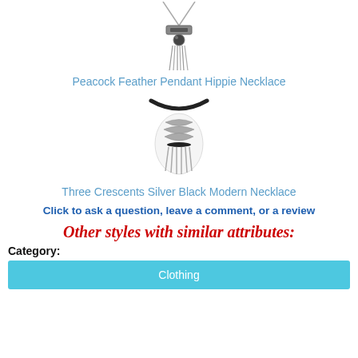[Figure (photo): Photo of Peacock Feather Pendant Hippie Necklace — silver pendant with feather tassels on chain]
Peacock Feather Pendant Hippie Necklace
[Figure (photo): Photo of Three Crescents Silver Black Modern Necklace — silver crescent shapes on black cord with silver fringe]
Three Crescents Silver Black Modern Necklace
Click to ask a question, leave a comment, or a review
Other styles with similar attributes:
Category:
Clothing